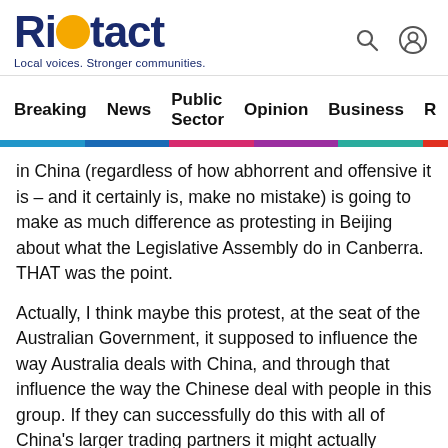Riotact — Local voices. Stronger communities.
Breaking  News  Public Sector  Opinion  Business
in China (regardless of how abhorrent and offensive it is – and it certainly is, make no mistake) is going to make as much difference as protesting in Beijing about what the Legislative Assembly do in Canberra. THAT was the point.
Actually, I think maybe this protest, at the seat of the Australian Government, it supposed to influence the way Australia deals with China, and through that influence the way the Chinese deal with people in this group. If they can successfully do this with all of China's larger trading partners it might actually actually force change. On the other hand, it might not.